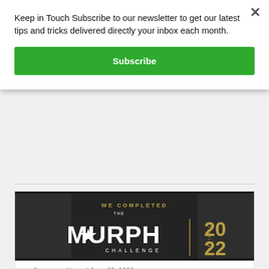Keep in Touch Subscribe to our newsletter to get our latest tips and tricks delivered directly your inbox each month.
Subscribe
[Figure (illustration): The Murph Challenge official 2022 logo — white star and bold text MURPH CHALLENGE on dark background with crowd photos, vertical gold line, OFFICIAL text, and gold 2022 numerals. Header reads WE COMPLETED in gold.]
Company News | June 23, 2022
We Completed the 2022 Murph